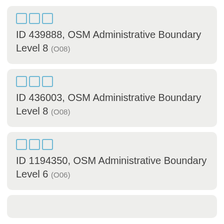ID 439888, OSM Administrative Boundary Level 8 (O08)
ID 436003, OSM Administrative Boundary Level 8 (O08)
ID 1194350, OSM Administrative Boundary Level 6 (O06)